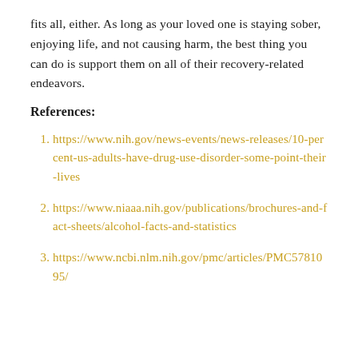fits all, either. As long as your loved one is staying sober, enjoying life, and not causing harm, the best thing you can do is support them on all of their recovery-related endeavors.
References:
https://www.nih.gov/news-events/news-releases/10-percent-us-adults-have-drug-use-disorder-some-point-their-lives
https://www.niaaa.nih.gov/publications/brochures-and-fact-sheets/alcohol-facts-and-statistics
https://www.ncbi.nlm.nih.gov/pmc/articles/PMC5781095/